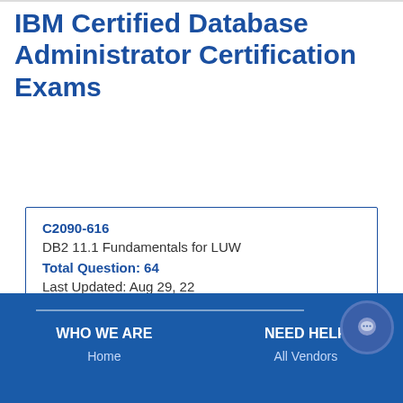IBM Certified Database Administrator Certification Exams
| Field | Value |
| --- | --- |
| Code | C2090-616 |
| Name | DB2 11.1 Fundamentals for LUW |
| Total Question | 64 |
| Last Updated | Aug 29, 22 |
WHO WE ARE
NEED HELP
Home
All Vendors